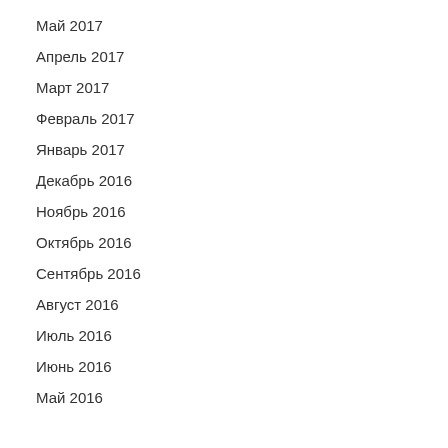Май 2017
Апрель 2017
Март 2017
Февраль 2017
Январь 2017
Декабрь 2016
Ноябрь 2016
Октябрь 2016
Сентябрь 2016
Август 2016
Июль 2016
Июнь 2016
Май 2016